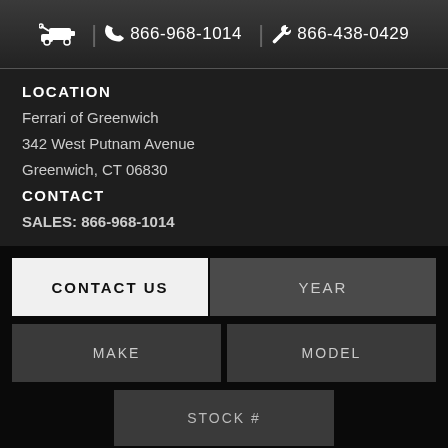Tow truck icon | 866-968-1014 | 866-438-0429
LOCATION
Ferrari of Greenwich
342 West Putnam Avenue
Greenwich, CT 06830
CONTACT
SALES: 866-968-1014
CONTACT US
YEAR
MAKE
MODEL
STOCK #
FIND
CLEAR